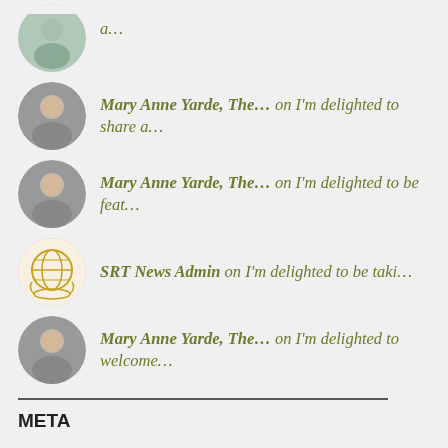a…
Mary Anne Yarde, The… on I'm delighted to share a…
Mary Anne Yarde, The… on I'm delighted to be feat…
SRT News Admin on I'm delighted to be taki…
Mary Anne Yarde, The… on I'm delighted to welcome…
META